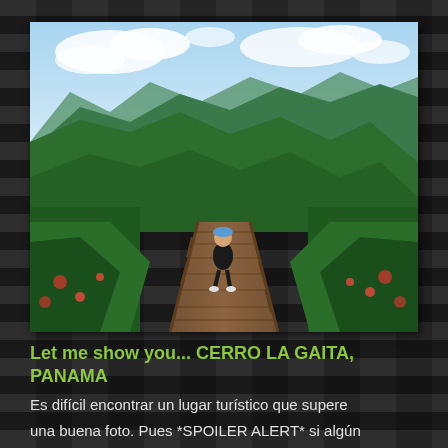[Figure (photo): A woman wearing a blue cap and dark athletic clothing walks away from the camera along a wooden boardwalk with railings, stretching into a panoramic view of green tropical mountains under a partly cloudy sky. Lush vegetation lines both sides of the walkway. Located at Cerro La Gaita, Panama.]
Let me show you... CERRO LA GAITA, PANAMA
Es difícil encontrar un lugar turístico que supere una buena foto. Pues *SPOILER ALERT* si algún